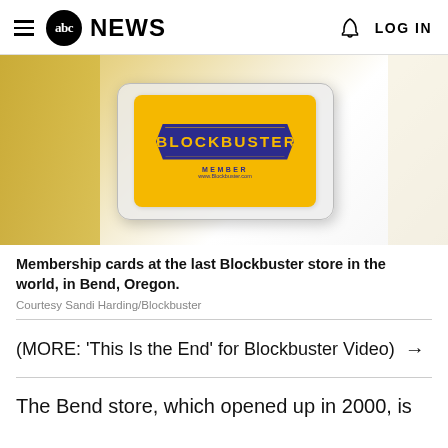abc NEWS  LOG IN
[Figure (photo): A Blockbuster membership card on a yellow and white surface. The card is in a clear plastic sleeve. The blue ticket-shaped logo reads BLOCKBUSTER in yellow letters, with MEMBER and www.Blockbuster.com below.]
Membership cards at the last Blockbuster store in the world, in Bend, Oregon.
Courtesy Sandi Harding/Blockbuster
(MORE: 'This Is the End' for Blockbuster Video) →
The Bend store, which opened up in 2000, is